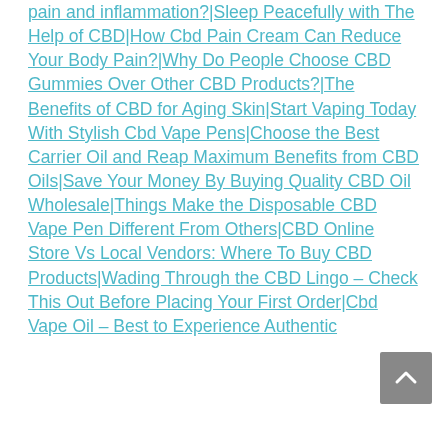pain and inflammation?|Sleep Peacefully with The Help of CBD|How Cbd Pain Cream Can Reduce Your Body Pain?|Why Do People Choose CBD Gummies Over Other CBD Products?|The Benefits of CBD for Aging Skin|Start Vaping Today With Stylish Cbd Vape Pens|Choose the Best Carrier Oil and Reap Maximum Benefits from CBD Oils|Save Your Money By Buying Quality CBD Oil Wholesale|Things Make the Disposable CBD Vape Pen Different From Others|CBD Online Store Vs Local Vendors: Where To Buy CBD Products|Wading Through the CBD Lingo – Check This Out Before Placing Your First Order|Cbd Vape Oil – Best to Experience Authentic